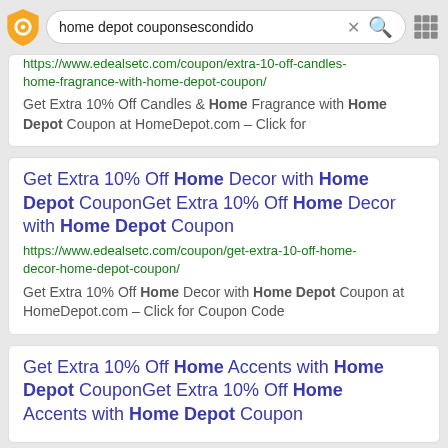[Figure (screenshot): Mobile browser search bar with shield icon, search query 'home depot couponsescondido', X close button, red magnifier icon, and grid menu icon]
https://www.edealsetc.com/coupon/extra-10-off-candles-home-fragrance-with-home-depot-coupon/
Get Extra 10% Off Candles & Home Fragrance with Home Depot Coupon at HomeDepot.com – Click for
Get Extra 10% Off Home Decor with Home Depot CouponGet Extra 10% Off Home Decor with Home Depot Coupon
https://www.edealsetc.com/coupon/get-extra-10-off-home-decor-home-depot-coupon/
Get Extra 10% Off Home Decor with Home Depot Coupon at HomeDepot.com – Click for Coupon Code
Get Extra 10% Off Home Accents with Home Depot CouponGet Extra 10% Off Home Accents with Home Depot Coupon